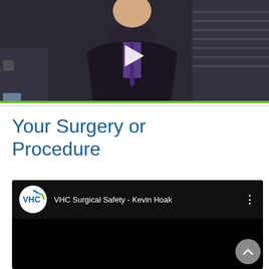[Figure (screenshot): Video thumbnail showing a man in a dark suit and purple tie in a medical/clinical setting, with a white play button overlay in the center. A green bar appears at the bottom of the thumbnail.]
Your Surgery or Procedure
[Figure (screenshot): YouTube embedded video player showing 'VHC Surgical Safety - Kevin Hoak' with VHC logo circle on left, three-dot menu on right, and a scroll-up arrow button on the lower right. Video area is black/dark.]